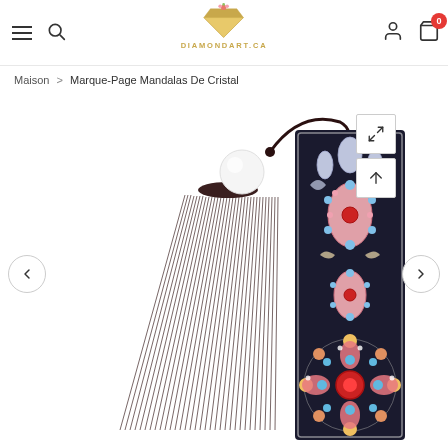DIAMONDART.CA — navigation header with menu, search, logo, user, cart (0)
Maison > Marque-Page Mandalas De Cristal
[Figure (photo): Crystal mandala diamond art bookmark with dark tassel and white bead, featuring colorful rhinestone floral mandala patterns on black background, shown close-up with navigation arrows on each side]